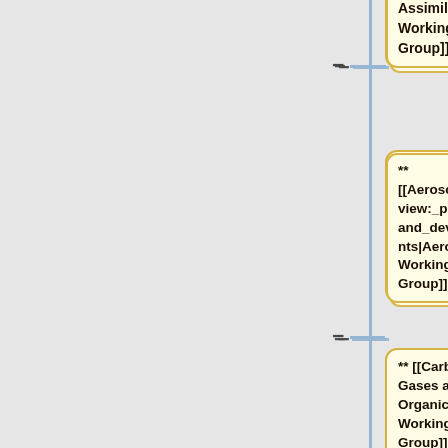[Figure (flowchart): Partial flowchart showing working group nodes connected by lines with minus (collapse) and plus (expand) controls. Visible nodes: 'Assimilation Working Group' (partial top), '** [[Aerosols_overview:_projects_and_developments|Aerosols Working Group]]', '** [[Carbon Gases and Organics Working Group]]', '** [[Emissions Working Group]]', '** [[Chemistry Issues|Oxidants' (partial bottom). Each node has a yellow/cream rounded rectangle on the left and an empty blue rounded rectangle on the right, connected by a horizontal line with minus and plus symbols.]